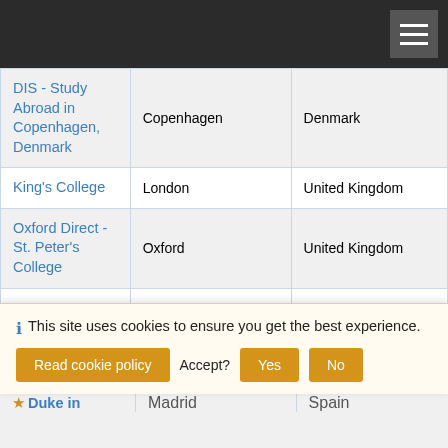| Program | City | Country |
| --- | --- | --- |
| DIS - Study Abroad in Copenhagen, Denmark | Copenhagen | Denmark |
| King's College | London | United Kingdom |
| Oxford Direct - St. Peter's College | Oxford | United Kingdom |
| ★ Duke in Berlin (Summer) | Berlin | Germany |
| ★ Duke in Venice (Summer) | Venice | Italy |
| ★ Duke in (Madrid) | Madrid | Spain |
ⓘ This site uses cookies to ensure you get the best experience. Accept? Yes No Read cookie policy